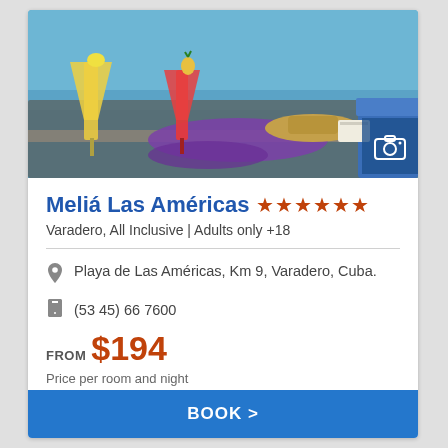[Figure (photo): Pool-side resort photo with colorful cocktails, a straw hat, purple scarf/towel, and blue towel on a wicker lounge chair next to a swimming pool]
Meliá Las Américas ★★★★★★
Varadero, All Inclusive | Adults only +18
Playa de Las Américas, Km 9, Varadero, Cuba.
(53 45) 66 7600
FROM $194
Price per room and night
(Taxes included)
BOOK >